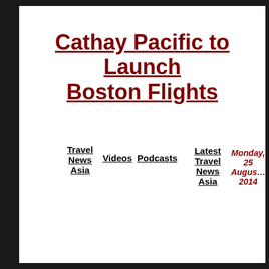Cathay Pacific to Launch Boston Flights
Travel News Asia  Videos  Podcasts  Latest Travel News Asia  Monday, 25 August 2014